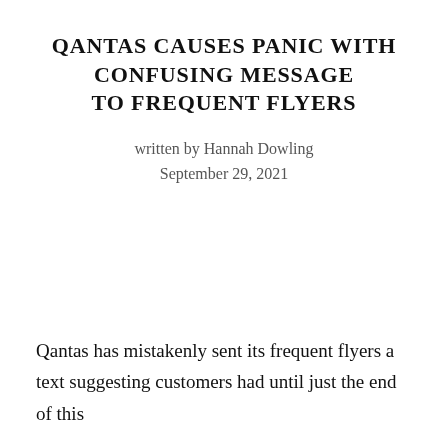QANTAS CAUSES PANIC WITH CONFUSING MESSAGE TO FREQUENT FLYERS
written by Hannah Dowling
September 29, 2021
Qantas has mistakenly sent its frequent flyers a text suggesting customers had until just the end of this